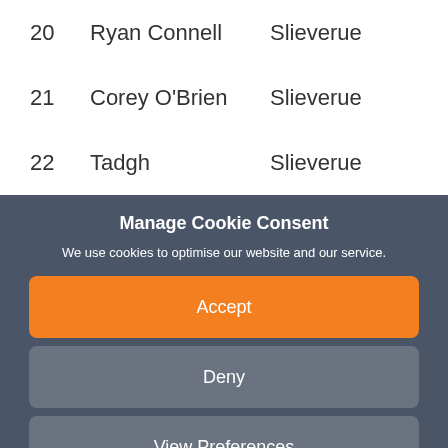| # | Name | Club |
| --- | --- | --- |
| 20 | Ryan Connell | Slieverue |
| 21 | Corey O'Brien | Slieverue |
| 22 | Tadgh | Slieverue |
Manage Cookie Consent
We use cookies to optimise our website and our service.
Accept
Deny
View Preferences